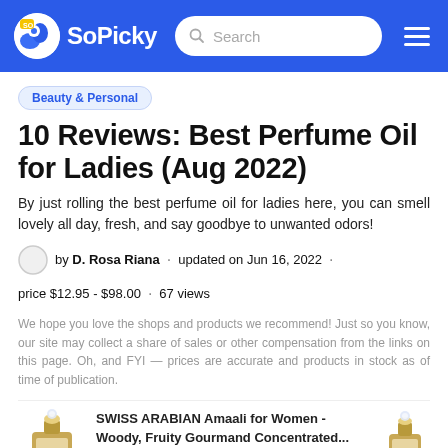SoPicky — Search navigation bar
Beauty & Personal
10 Reviews: Best Perfume Oil for Ladies (Aug 2022)
By just rolling the best perfume oil for ladies here, you can smell lovely all day, fresh, and say goodbye to unwanted odors!
by D. Rosa Riana · updated on Jun 16, 2022 · price $12.95 - $98.00 · 67 views
We hope you love the shops and products we recommend! Just so you know, our site may collect a share of sales or other compensation from the links on this page. Oh, and FYI — prices are accurate and products in stock as of time of publication.
SWISS ARABIAN Amaali for Women - Woody, Fruity Gourmand Concentrated...